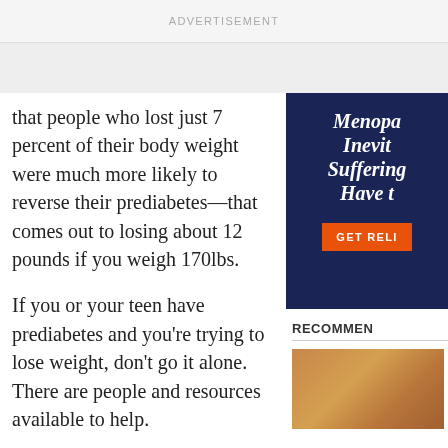ADVERTISEMENT
that people who lost just 7 percent of their body weight were much more likely to reverse their prediabetes—that comes out to losing about 12 pounds if you weigh 170lbs.
[Figure (other): Partially cropped advertisement with dark navy background showing text 'Menopa[use] Inevit[able] Suffering[?] Have t[o]' in italic white/light text and an orange button reading 'GET RELI[EF]']
If you or your teen have prediabetes and you're trying to lose weight, don't go it alone. There are people and resources available to help.
What resources can help me
RECOMMEN[DED]
[Figure (photo): Partially visible food photo showing what appears to be grilled meat with cucumber slices]